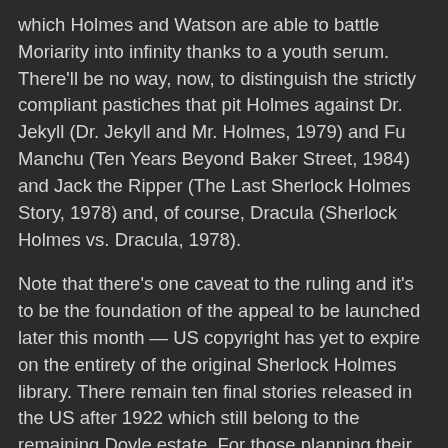which Holmes and Watson are able to battle Moriarity into infinity thanks to a youth serum. There'll be no way, now, to distinguish the strictly compliant pastiches that pit Holmes against Dr. Jekyll (Dr. Jekyll and Mr. Holmes, 1979) and Fu Manchu (Ten Years Beyond Baker Street, 1984) and Jack the Ripper (The Last Sherlock Holmes Story, 1978) and, of course, Dracula (Sherlock Holmes vs. Dracula, 1978).
Note that there's one caveat to the ruling and it's to be the foundation of the appeal to be launched later this month — US copyright has yet to expire on the entirety of the original Sherlock Holmes library. There remain ten final stories released in the US after 1922 which still belong to the remaining Doyle estate. For those planning their own take on the great detective, this means that only features and characteristics established before then are fair game. So you can refer to Watson and Holmes, of course, and 221B Baker Street and Mrs. Hudson and Moriarty and LeStrade